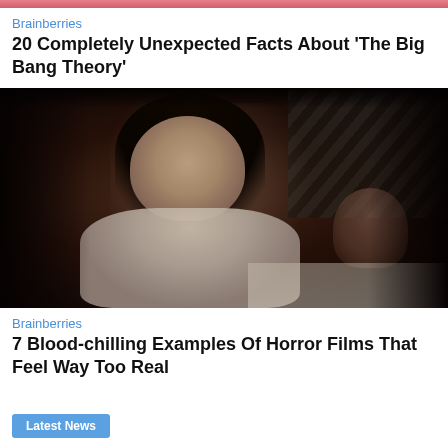[Figure (photo): Partial top of a photo showing a person in a red/pink top, cropped at the top of the page]
Brainberries
20 Completely Unexpected Facts About 'The Big Bang Theory'
[Figure (photo): Movie scene photo showing an Asian woman in a cream blouse sitting in a dim restaurant, with another person and stairs visible in the background]
Brainberries
7 Blood-chilling Examples Of Horror Films That Feel Way Too Real
Latest News